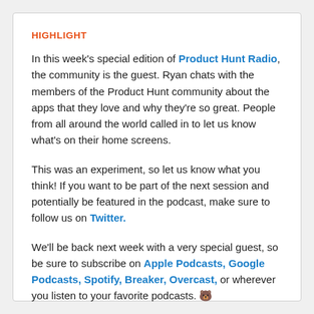HIGHLIGHT
In this week's special edition of Product Hunt Radio, the community is the guest. Ryan chats with the members of the Product Hunt community about the apps that they love and why they're so great. People from all around the world called in to let us know what's on their home screens.
This was an experiment, so let us know what you think! If you want to be part of the next session and potentially be featured in the podcast, make sure to follow us on Twitter.
We'll be back next week with a very special guest, so be sure to subscribe on Apple Podcasts, Google Podcasts, Spotify, Breaker, Overcast, or wherever you listen to your favorite podcasts. 🐻